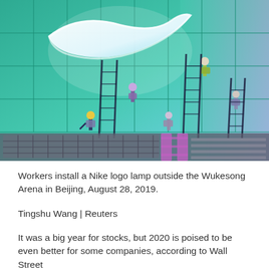[Figure (photo): Workers on ladders install a large illuminated Nike swoosh logo lamp on a teal/green tiled wall outside the Wukesong Arena in Beijing. Several workers are visible climbing ladders, and construction scaffolding/fencing is visible at the bottom.]
Workers install a Nike logo lamp outside the Wukesong Arena in Beijing, August 28, 2019.
Tingshu Wang | Reuters
It was a big year for stocks, but 2020 is poised to be even better for some companies, according to Wall Street